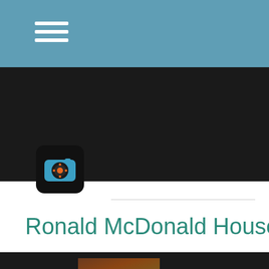[Figure (screenshot): Navigation bar with teal/steel blue background and white hamburger menu icon]
[Figure (logo): App icon on dark background - black square with rounded corners showing a blue camera-like icon with orange gear/flower center]
Ronald McDonald House
[Figure (screenshot): Video media player section on dark background with a thumbnail showing an indoor scene, a progress/scrubber bar, and a teal scroll-to-top button with chevron up arrow]